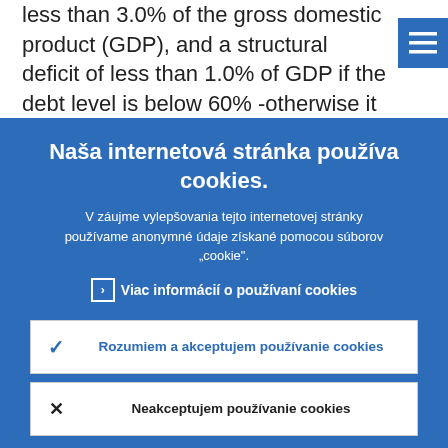less than 3.0% of the gross domestic product (GDP), and a structural deficit of less than 1.0% of GDP if the debt level is below 60% -otherwise it shall be below 0.5%
Naša internetová stránka používa cookies.
V záujme vylepšovania tejto internetovej stránky používame anonymné údaje získané pomocou súborov „cookie".
Viac informácií o používaní cookies
Rozumiem a akceptujem používanie cookies
Neakceptujem používanie cookies